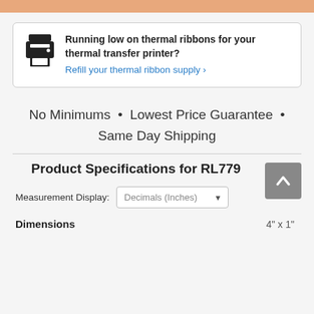Running low on thermal ribbons for your thermal transfer printer? Refill your thermal ribbon supply
No Minimums • Lowest Price Guarantee • Same Day Shipping
Product Specifications for RL779
Measurement Display: Decimals (Inches)
Dimensions 4" x 1"